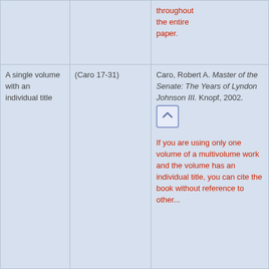| Source type | In-text citation | Works Cited entry |
| --- | --- | --- |
|  |  | throughout the entire paper. |
| A single volume with an individual title | (Caro 17-31) | Caro, Robert A. Master of the Senate: The Years of Lyndon Johnson III. Knopf, 2002.
[annotation] If you are using only one volume of a multivolume work and the volume has an individual title, you can cite the book without reference to other... |